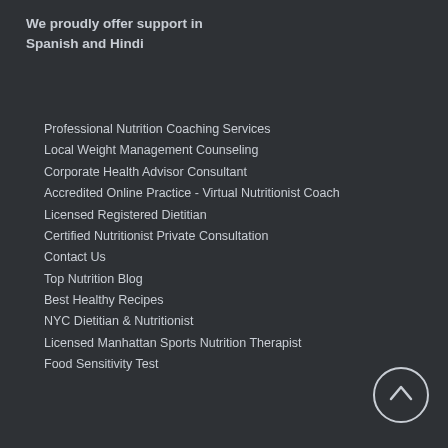We proudly offer support in Spanish and Hindi
Professional Nutrition Coaching Services
Local Weight Management Counseling
Corporate Health Advisor Consultant
Accredited Online Practice - Virtual Nutritionist Coach
Licensed Registered Dietitian
Certified Nutritionist Private Consultation
Contact Us
Top Nutrition Blog
Best Healthy Recipes
NYC Dietitian & Nutritionist
Licensed Manhattan Sports Nutrition Therapist
Food Sensitivity Test
[Figure (illustration): Circle scroll-to-top button with upward arrow icon]